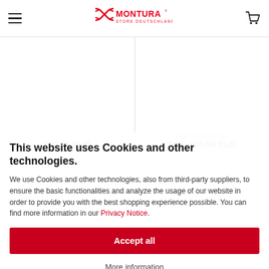Montura Store Deutschland — navigation header with logo
238,95 EUR
RRP 238,95 EUR
Only 209,90 EUR
This website uses Cookies and other technologies.
We use Cookies and other technologies, also from third-party suppliers, to ensure the basic functionalities and analyze the usage of our website in order to provide you with the best shopping experience possible. You can find more information in our Privacy Notice.
Accept all
More information